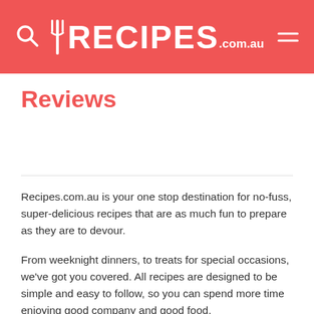RECIPES.com.au
Reviews
Recipes.com.au is your one stop destination for no-fuss, super-delicious recipes that are as much fun to prepare as they are to devour.
From weeknight dinners, to treats for special occasions, we've got you covered. All recipes are designed to be simple and easy to follow, so you can spend more time enjoying good company and good food.
Each recipe is tried-and-tested by a dedicated our cooking team to ensure you can recreate the same great results at